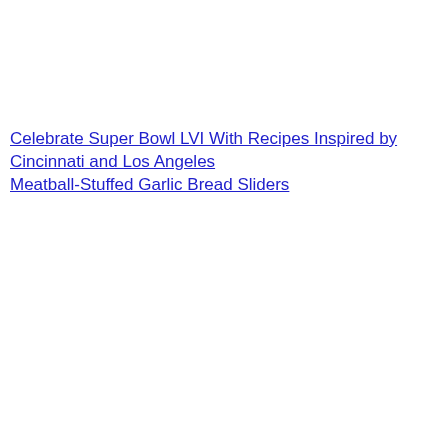Celebrate Super Bowl LVI With Recipes Inspired by Cincinnati and Los Angeles
Meatball-Stuffed Garlic Bread Sliders